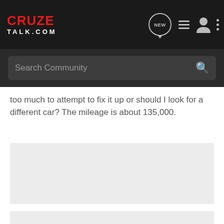[Figure (logo): CruzeTalk.com logo with red CRUZE text and white TALK.COM text on dark background, with navigation icons (NEW bubble, list icon, user icon, dots icon)]
[Figure (screenshot): Search Community search bar on dark background with magnifying glass icon]
too much to attempt to fix it up or should I look for a different car? The mileage is about 135,000.
[Figure (other): Light gray rectangular content/advertisement block]
[Figure (other): Partial light gray rectangular content block at bottom of page]